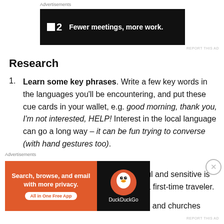[Figure (screenshot): Advertisement banner: P2 logo with text 'Fewer meetings, more work.' on dark background]
Research
Learn some key phrases. Write a few key words in the languages you'll be encountering, and put these cue cards in your wallet, e.g. good morning, thank you, I'm not interested, HELP! Interest in the local language can go a long way – it can be fun trying to converse (with hand gestures too).
Etiquette. Being culturally respectful and sensitive is always a good thing, especially as a first-time traveler. Even more so if visiting sacred sites and churches
[Figure (screenshot): Advertisement banner: DuckDuckGo app ad — 'Search, browse, and email with more privacy. All in One Free App' on orange background with DuckDuckGo logo on dark background]